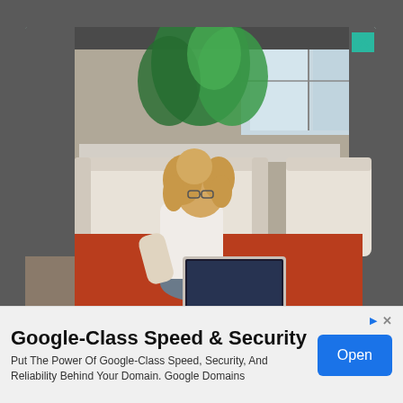[Figure (photo): Advertisement popup overlay showing a woman with curly blonde hair sitting on a red carpet floor leaning against a white sofa, using a laptop computer. The room has a large plant, white sofas, and windows in the background. The popup has a teal/green border and background.]
Get real work from home
Google-Class Speed & Security
Put The Power Of Google-Class Speed, Security, And Reliability Behind Your Domain. Google Domains
Open